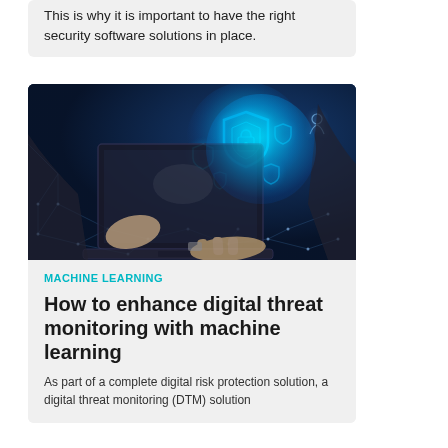This is why it is important to have the right security software solutions in place.
[Figure (photo): A person in a suit holding a laptop while digital glowing cybersecurity shield icons and network connection lines float above the device, set against a dark blue technology background.]
MACHINE LEARNING
How to enhance digital threat monitoring with machine learning
As part of a complete digital risk protection solution, a digital threat monitoring (DTM) solution